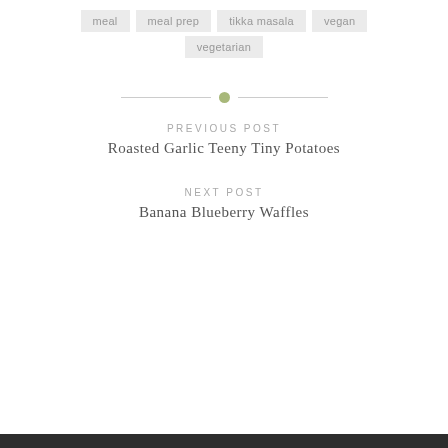meal
meal prep
tikka masala
vegan
vegetarian
[Figure (other): Horizontal divider with a small green circle in the center]
PREVIOUS POST
Roasted Garlic Teeny Tiny Potatoes
NEXT POST
Banana Blueberry Waffles